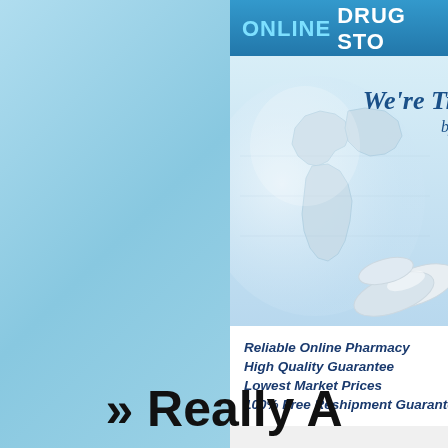[Figure (screenshot): Online drug store advertisement banner showing world map, pills, and text about reliable online pharmacy services]
» Really A